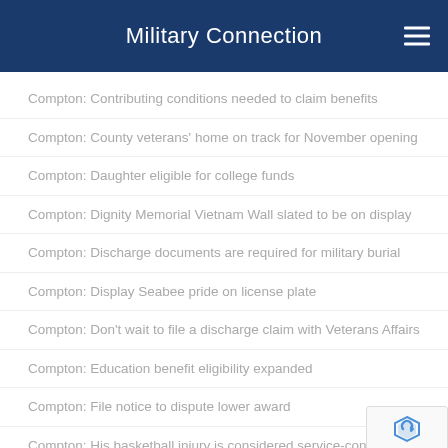Military Connection
Compton: Contributing conditions needed to claim benefits
Compton: County veterans' home on track for November opening
Compton: Daughter eligible for college funds
Compton: Dignity Memorial Vietnam Wall slated to be on display
Compton: Discharge documents are required for military burial
Compton: Display Seabee pride on license plate
Compton: Don't wait to file a discharge claim with Veterans Affairs
Compton: Education benefit eligibility expanded
Compton: File notice to dispute lower award
Compton: His basketball injury is considered service-connected
Compton: History project seeks Catalina Heights memories